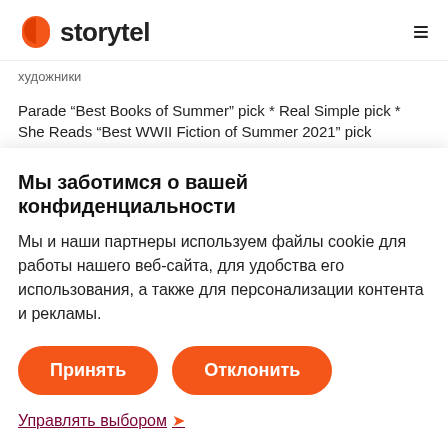storytel
художники
Parade “Best Books of Summer” pick * Real Simple pick * She Reads “Best WWII Fiction of Summer 2021” pick
Мы заботимся о вашей конфиденциальности
Мы и наши партнеры используем файлы cookie для работы нашего веб-сайта, для удобства его использования, а также для персонализации контента и рекламы.
Принять
Отклонить
Управлять выбором ❯